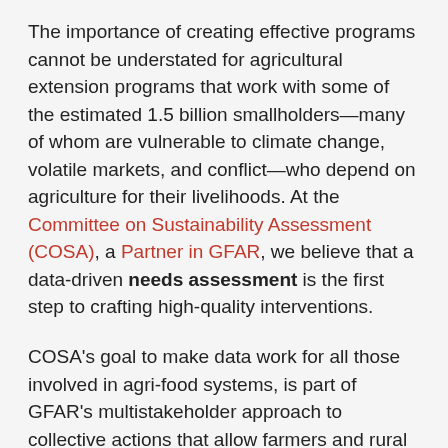The importance of creating effective programs cannot be understated for agricultural extension programs that work with some of the estimated 1.5 billion smallholders—many of whom are vulnerable to climate change, volatile markets, and conflict—who depend on agriculture for their livelihoods. At the Committee on Sustainability Assessment (COSA), a Partner in GFAR, we believe that a data-driven needs assessment is the first step to crafting high-quality interventions.
COSA's goal to make data work for all those involved in agri-food systems, is part of GFAR's multistakeholder approach to collective actions that allow farmers and rural communities to determine and express their own needs. Needs assessment is one of the valuable tools that can help enable